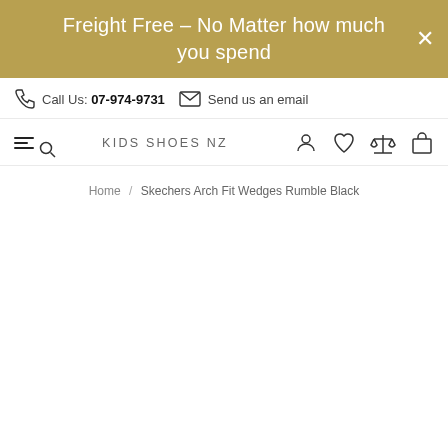Freight Free – No Matter how much you spend
Call Us: 07-974-9731   Send us an email
KIDS SHOES NZ
Home / Skechers Arch Fit Wedges Rumble Black